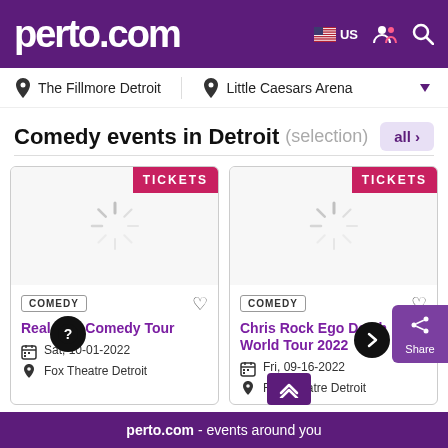perto.com — US [flag icon] [person icon] [search icon]
📍 The Fillmore Detroit    📍 Little Caesars Arena
Comedy events in Detroit (selection)  all ›
[Figure (screenshot): Event card: TICKETS button, loading spinner, COMEDY tag, heart icon, Real Talk Comedy Tour, Sat, 10-01-2022, Fox Theatre Detroit]
[Figure (screenshot): Event card: TICKETS button, loading spinner, COMEDY tag, heart icon, Chris Rock Ego Death World Tour 2022, Fri, 09-16-2022, Fox Theatre Detroit]
Share
perto.com - events around you